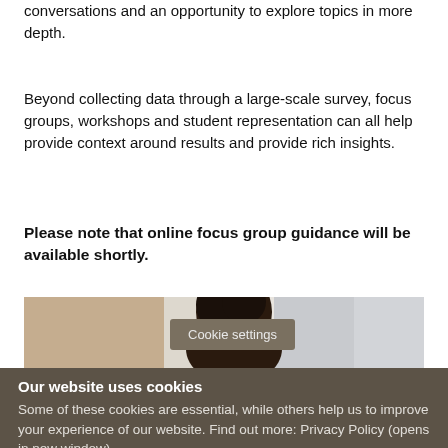conversations and an opportunity to explore topics in more depth.
Beyond collecting data through a large-scale survey, focus groups, workshops and student representation can all help provide context around results and provide rich insights.
Please note that online focus group guidance will be available shortly.
[Figure (photo): A person with dark hair viewed from above, sitting at a desk or table, in a blurred office/study environment.]
Cookie settings
Our website uses cookies
Some of these cookies are essential, while others help us to improve your experience of our website. Find out more: Privacy Policy (opens in new window).